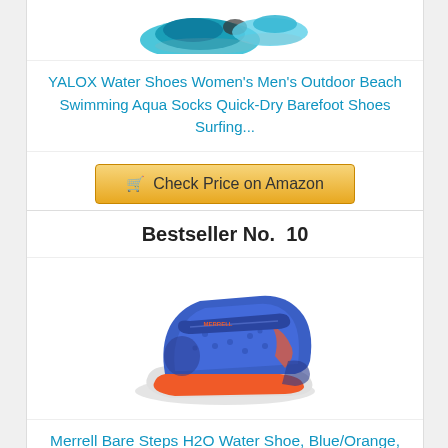[Figure (photo): Two water shoes (blue/teal) shown from top view, partially cropped at top of page]
YALOX Water Shoes Women's Men's Outdoor Beach Swimming Aqua Socks Quick-Dry Barefoot Shoes Surfing...
[Figure (other): Check Price on Amazon button with shopping cart icon]
Bestseller No. 10
[Figure (photo): Merrell Bare Steps H2O Water Shoe in Blue/Orange color, child's shoe with velcro strap and mesh upper]
Merrell Bare Steps H2O Water Shoe, Blue/Orange,